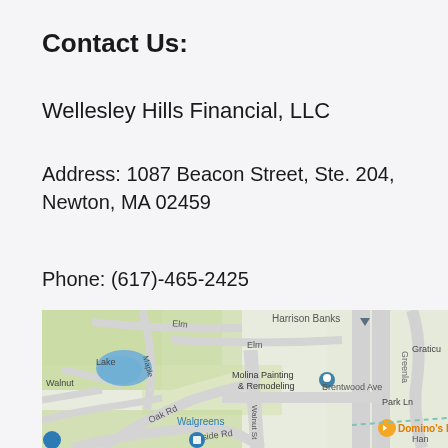Contact Us:
Wellesley Hills Financial, LLC
Address: 1087 Beacon Street, Ste. 204, Newton, MA 02459
Phone: (617)-465-2425
[Figure (map): Google Maps showing the area around 1087 Beacon Street, Newton, MA 02459. Visible landmarks include Harrison Banks, Molina Painting & Remodeling, Domino's Pizza, Walgreens, with street names Elm, Maple, Walnut, Oak Rd, Hillside Rd, Brentwood Ave, Walnut St, Park Ln, Greenla(nd), Graticu(le).]